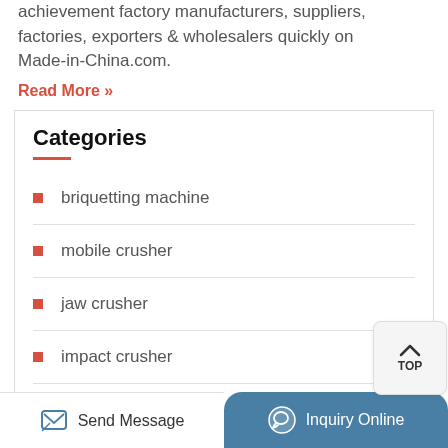achievement factory manufacturers, suppliers, factories, exporters & wholesalers quickly on Made-in-China.com.
Read More »
Categories
briquetting machine
mobile crusher
jaw crusher
impact crusher
cone crusher
Send Message | Inquiry Online